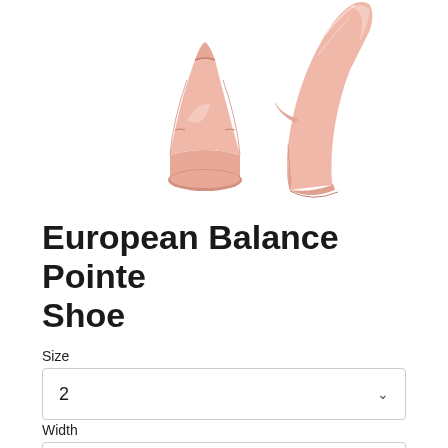[Figure (photo): Two pink ballet pointe shoes photographed against a white background — one shown from the front/top view and one from the side profile view on pointe.]
European Balance Pointe Shoe
Size
2
Width
X